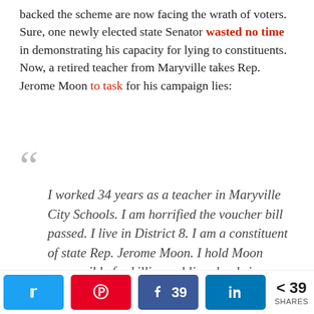backed the scheme are now facing the wrath of voters. Sure, one newly elected state Senator wasted no time in demonstrating his capacity for lying to constituents. Now, a retired teacher from Maryville takes Rep. Jerome Moon to task for his campaign lies:
I worked 34 years as a teacher in Maryville City Schools. I am horrified the voucher bill passed. I live in District 8. I am a constituent of state Rep. Jerome Moon. I hold Moon responsible for killing public schools in Maryville and in Tennessee. He told representatives from the teachers' union and school superintendents that he'd vote against the voucher bill, but then voted for it. He wasn't just for the voucher...
39 SHARES